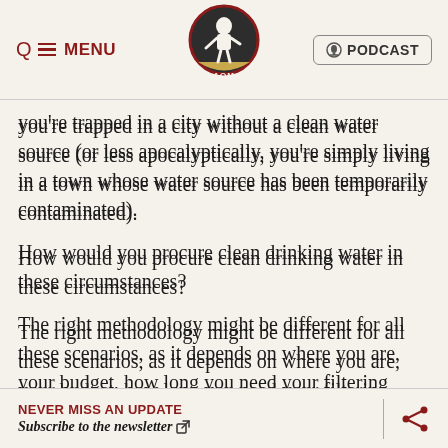MENU | AOM | PODCAST
you're trapped in a city without a clean water source (or less apocalyptically, you're simply living in a town whose water source has been temporarily contaminated).
How would you procure clean drinking water in these circumstances?
The right methodology might be different for all these scenarios, as it depends on where you are, your budget, how long you need your filtering materials to last, etc.
The options for filtering and purifying water are in fact numerous, and unfortunately, some of the terminology related to them is also confusing, and not necessarily
NEVER MISS AN UPDATE
Subscribe to the newsletter